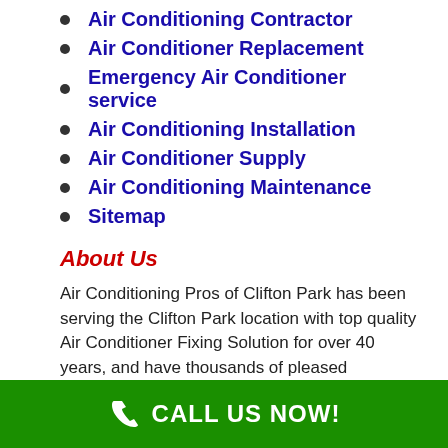Air Conditioning Contractor
Air Conditioner Replacement
Emergency Air Conditioner service
Air Conditioning Installation
Air Conditioner Supply
Air Conditioning Maintenance
Sitemap
About Us
Air Conditioning Pros of Clifton Park has been serving the Clifton Park location with top quality Air Conditioner Fixing Solution for over 40 years, and have thousands of pleased customers. All Air
CALL US NOW!